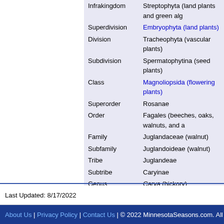| Rank | Value |
| --- | --- |
| Infrakingdom | Streptophyta (land plants and green alg… |
| Superdivision | Embryophyta (land plants) |
| Division | Tracheophyta (vascular plants) |
| Subdivision | Spermatophytina (seed plants) |
| Class | Magnoliopsida (flowering plants) |
| Superorder | Rosanae |
| Order | Fagales (beeches, oaks, walnuts, and a… |
| Family | Juglandaceae (walnut) |
| Subfamily | Juglandoideae (walnut) |
| Tribe | Juglandeae |
| Subtribe | Caryinae |
| Genus | Carya (hickory) |
| Section | Apocarya (pecans) |
Synonyms
Carya cordiformis var. latifolia
Hicoria cordiformis
Common Names
bitternut hickory
Last Updated: 8/17/2022
About Us | Privacy Policy | Contact Us | © 2022 MinnesotaSeasons.com. All